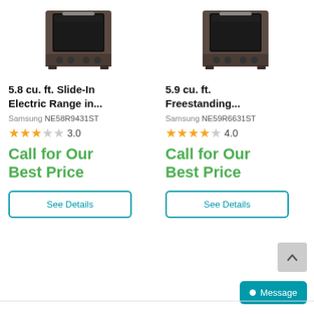[Figure (photo): Samsung slide-in electric range stove in dark stainless finish, top portion of appliance visible]
[Figure (photo): Samsung freestanding electric range stove in dark stainless finish, top portion of appliance visible]
5.8 cu. ft. Slide-In Electric Range in...
5.9 cu. ft. Freestanding...
Samsung NE58R9431ST
Samsung NE59R6631ST
3.0
4.0
Call for Our Best Price
Call for Our Best Price
See Details
See Details
Message